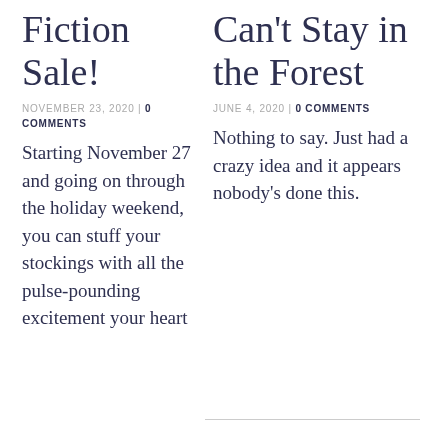Fiction Sale!
NOVEMBER 23, 2020 | 0 COMMENTS
Starting November 27 and going on through the holiday weekend, you can stuff your stockings with all the pulse-pounding excitement your heart
Can't Stay in the Forest
JUNE 4, 2020 | 0 COMMENTS
Nothing to say. Just had a crazy idea and it appears nobody's done this.